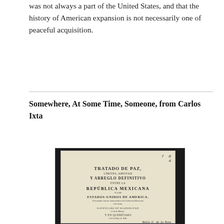was not always a part of the United States, and that the history of American expansion is not necessarily one of peaceful acquisition.
Somewhere, At Some Time, Someone, from Carlos Ixta
[Figure (photo): Photograph of the title page of 'Tratado de Paz' (Treaty of Peace), showing text in Spanish about the peace treaty between the Republica Mexicana and the Estados-Unidos de America, ratified in Washington and Queretaro. A handwritten notation '7 8 4' appears at the top, and a signature at the bottom.]